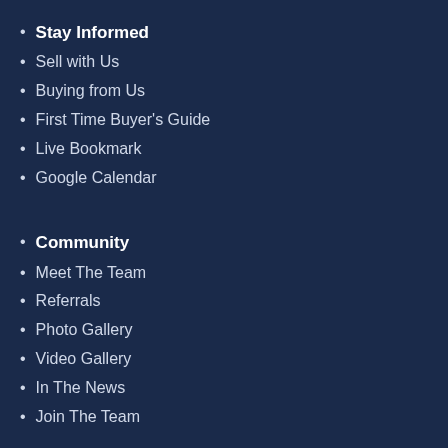Stay Informed
Sell with Us
Buying from Us
First Time Buyer's Guide
Live Bookmark
Google Calendar
Community
Meet The Team
Referrals
Photo Gallery
Video Gallery
In The News
Join The Team
Quick Links
Sold at Auction
Real Estate for Sale
Contact Us
AuctionZip
Firearm Policies
Privacy Policy